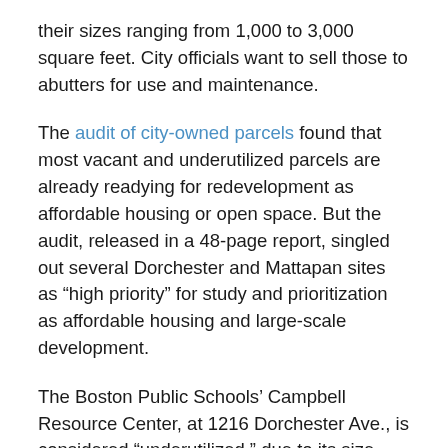their sizes ranging from 1,000 to 3,000 square feet. City officials want to sell those to abutters for use and maintenance.
The audit of city-owned parcels found that most vacant and underutilized parcels are already readying for redevelopment as affordable housing or open space. But the audit, released in a 48-page report, singled out several Dorchester and Mattapan sites as “high priority” for study and prioritization as affordable housing and large-scale development.
The Boston Public Schools’ Campbell Resource Center, at 1216 Dorchester Ave., is considered “underutilized,” due to its size and proximity to the Savin Hill MBTA station. “The 217,771 square foot parcel sits just east of Dorchester Avenue, is accessible to public transportation, and presently serves as a shipping and storage facility as well as a